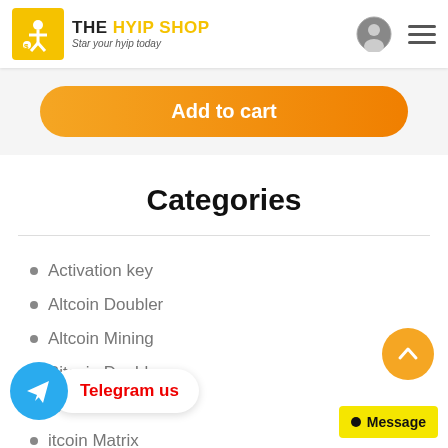THE HYIP SHOP - Star your hyip today
Add to cart
Categories
Activation key
Altcoin Doubler
Altcoin Mining
Bitcoin Doubler
Bitcoin [etc]
Bitcoin Matrix
Bitcoin Mining
Telegram us
Message